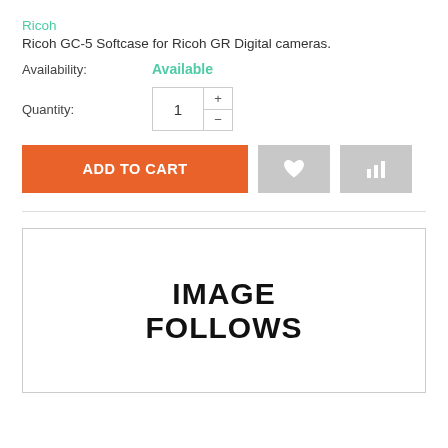Ricoh
Ricoh GC-5 Softcase for Ricoh GR Digital cameras.
Availability: Available
[Figure (screenshot): Quantity selector showing value 1 with plus and minus buttons]
[Figure (screenshot): Add to Cart button (orange) with wishlist heart icon button (gray) and compare bars icon button (gray)]
[Figure (screenshot): Image placeholder box with text IMAGE FOLLOWS]